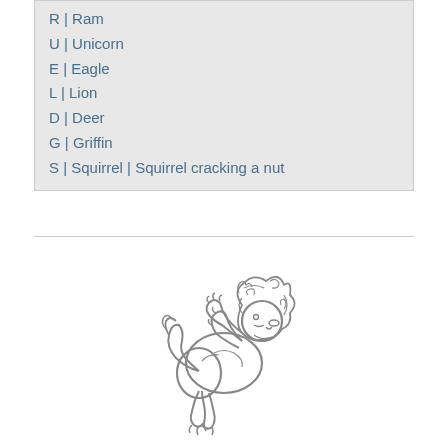R | Ram
U | Unicorn
E | Eagle
L | Lion
D | Deer
G | Griffin
S | Squirrel | Squirrel cracking a nut
[Figure (illustration): A line drawing illustration of a heraldic lion rampant, shown in profile with flowing mane and tail, standing on hind legs with forepaws raised.]